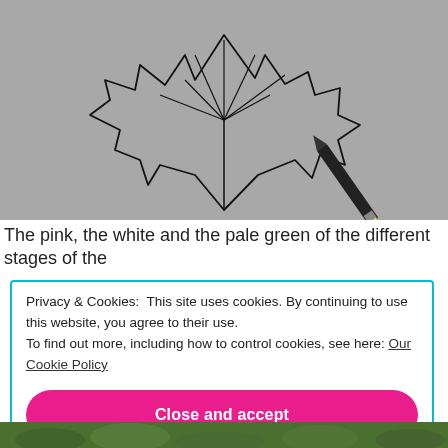[Figure (illustration): Hand drawing a maple leaf outline with a pencil on grey/white paper. The leaf is drawn with thin black outlines showing veins radiating from the stem. A dark pencil is visible at the right side of the image.]
The pink, the white and the pale green of the different stages of the
Privacy & Cookies: This site uses cookies. By continuing to use this website, you agree to their use.
To find out more, including how to control cookies, see here: Our Cookie Policy
Close and accept
[Figure (photo): Bottom strip of a nature/plant photo showing green foliage.]